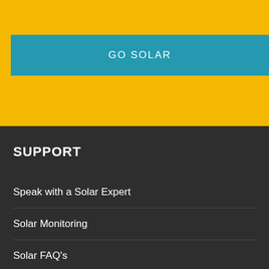[Figure (screenshot): Yellow background section with a teal/blue GO SOLAR button]
SUPPORT
Speak with a Solar Expert
Solar Monitoring
Solar FAQ's